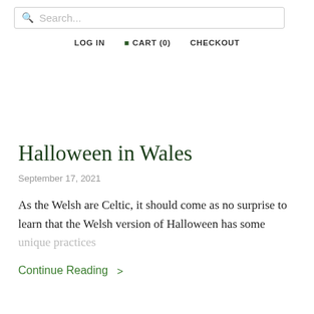Search... LOG IN CART (0) CHECKOUT
Halloween in Wales
September 17, 2021
As the Welsh are Celtic, it should come as no surprise to learn that the Welsh version of Halloween has some unique practices
Continue Reading >